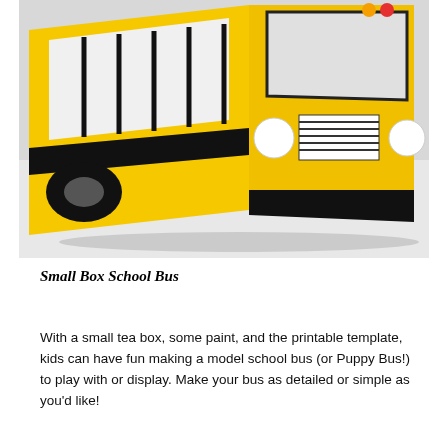[Figure (photo): A paper model school bus made from a small tea box, decorated with yellow paint and printed template details showing the front and side of the bus with windows, wheels, headlights, and black bumper.]
Small Box School Bus
With a small tea box, some paint, and the printable template, kids can have fun making a model school bus (or Puppy Bus!) to play with or display. Make your bus as detailed or simple as you'd like!